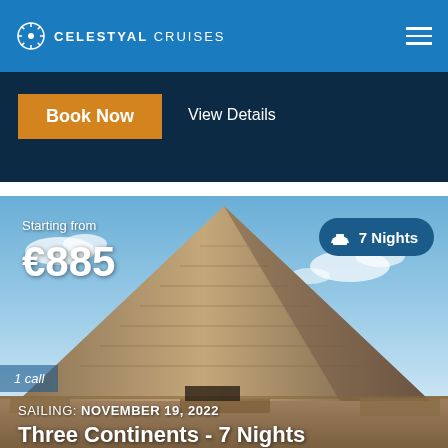CELESTYAL CRUISES
Book Now
View Details
[Figure (photo): Photograph of the Great Pyramid of Giza against a blue sky with clouds, used as background for a cruise offer card showing Starting from €885, 7 Nights badge, SAILING: NOVEMBER 19, 2022, and title Three Continents - 7 Nights]
Starting from €885
7 Nights
1 call
SAILING: NOVEMBER 19, 2022
Three Continents - 7 Nights